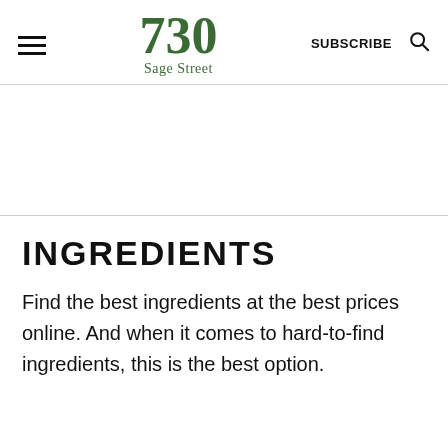730 Sage Street | SUBSCRIBE
INGREDIENTS
Find the best ingredients at the best prices online. And when it comes to hard-to-find ingredients, this is the best option.